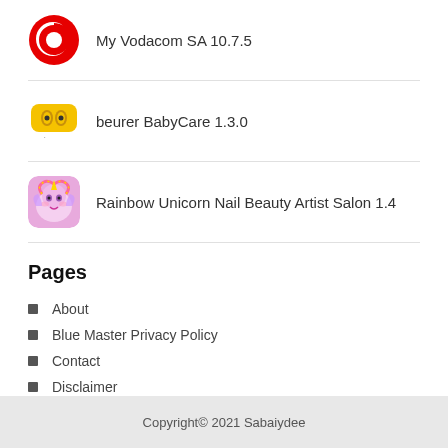[Figure (logo): Vodacom red logo with app name My Vodacom SA 10.7.5]
My Vodacom SA 10.7.5
[Figure (logo): Beurer BabyCare logo with app name beurer BabyCare 1.3.0]
beurer BabyCare 1.3.0
[Figure (illustration): Rainbow Unicorn Nail Beauty Artist Salon app icon]
Rainbow Unicorn Nail Beauty Artist Salon 1.4
Pages
About
Blue Master Privacy Policy
Contact
Disclaimer
Privacy Policy
Terms & Conditions
Copyright© 2021 Sabaiydee